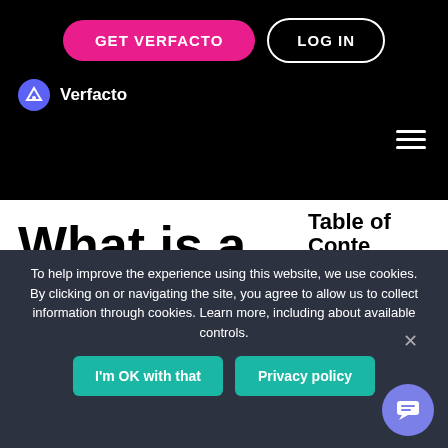GET VERFACTO | LOG IN | Verfacto
What is a Good Customer
Table of Contents
What is Customer Lifetime Value?
Why is
To help improve the experience using this website, we use cookies. By clicking on or navigating the site, you agree to allow us to collect information through cookies. Learn more, including about available controls.
I'm OK with that | Privacy policy